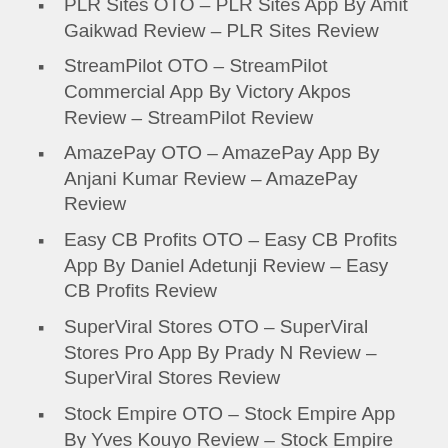PLR Sites OTO – PLR Sites App By Amit Gaikwad Review – PLR Sites Review
StreamPilot OTO – StreamPilot Commercial App By Victory Akpos Review – StreamPilot Review
AmazePay OTO – AmazePay App By Anjani Kumar Review – AmazePay Review
Easy CB Profits OTO – Easy CB Profits App By Daniel Adetunji Review – Easy CB Profits Review
SuperViral Stores OTO – SuperViral Stores Pro App By Prady N Review – SuperViral Stores Review
Stock Empire OTO – Stock Empire App By Yves Kouyo Review – Stock Empire Review
LeadValet OTO – LeadValet Agency App By Joshua Zamora Review – LeadValet Review